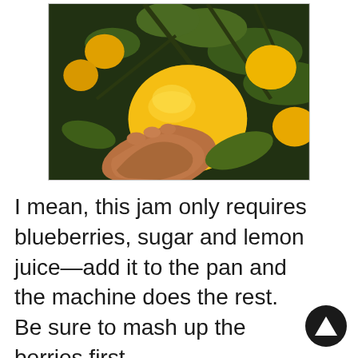[Figure (photo): A hand holding a large yellow-orange lemon on a citrus tree with green branches and leaves, with more lemons visible in the background]
I mean, this jam only requires blueberries, sugar and lemon juice—add it to the pan and the machine does the rest. Be sure to mash up the berries first.